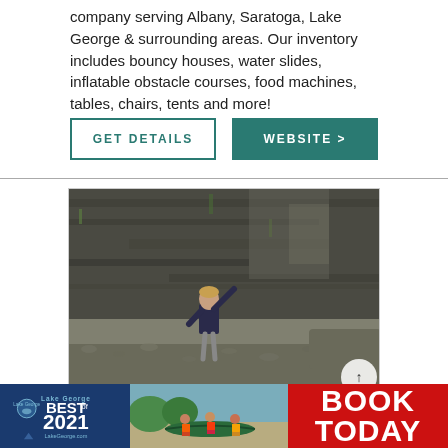company serving Albany, Saratoga, Lake George & surrounding areas. Our inventory includes bouncy houses, water slides, inflatable obstacle courses, food machines, tables, chairs, tents and more!
GET DETAILS
WEBSITE >
[Figure (photo): Child throwing rocks at a rocky cliff face on a pebbly shoreline]
[Figure (logo): Lake George Best of 2021 LakeGeorge.com badge]
[Figure (photo): Children in life jackets with a canoe near a sandy shore]
BOOK TODAY